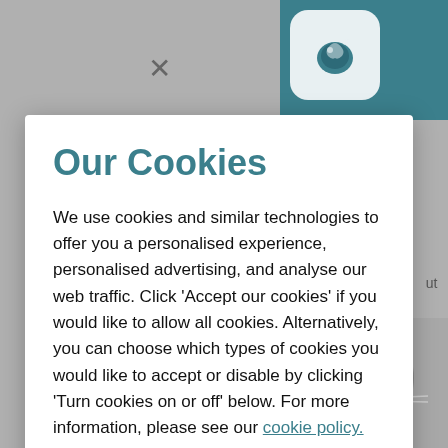[Figure (screenshot): Greyed-out background of a pet care website with a teal navigation bar at top, an X close button, a logo, and partial content visible including a photo of an animal]
Our Cookies
We use cookies and similar technologies to offer you a personalised experience, personalised advertising, and analyse our web traffic. Click 'Accept our cookies' if you would like to allow all cookies. Alternatively, you can choose which types of cookies you would like to accept or disable by clicking 'Turn cookies on or off' below. For more information, please see our cookie policy.
Accept our cookies
Turn cookies on or off